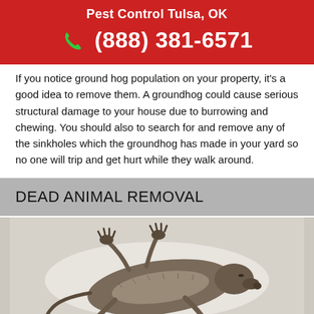Pest Control Tulsa, OK
(888) 381-6571
If you notice ground hog population on your property, it's a good idea to remove them. A groundhog could cause serious structural damage to your house due to burrowing and chewing. You should also to search for and remove any of the sinkholes which the groundhog has made in your yard so no one will trip and get hurt while they walk around.
DEAD ANIMAL REMOVAL
[Figure (photo): Photo of a dead mouse/rodent lying on its back on a white background, showing its fur-covered body, paws, and snout.]